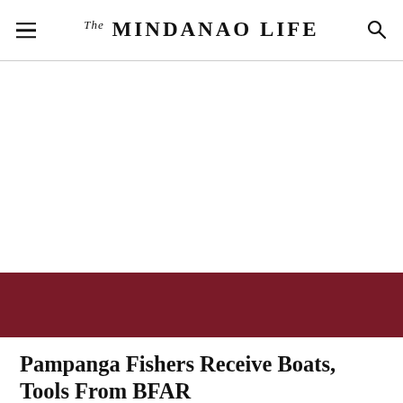The MINDANAO LIFE
[Figure (other): White blank advertisement or image area below the header navigation bar]
[Figure (other): Dark maroon/crimson horizontal banner strip]
Pampanga Fishers Receive Boats, Tools From BFAR